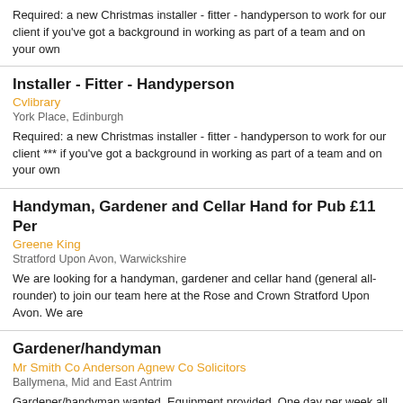Required: a new Christmas installer - fitter - handyperson to work for our client if you've got a background in working as part of a team and on your own
Installer - Fitter - Handyperson
Cvlibrary
York Place, Edinburgh
Required: a new Christmas installer - fitter - handyperson to work for our client *** if you've got a background in working as part of a team and on your own
Handyman, Gardener and Cellar Hand for Pub £11 Per
Greene King
Stratford Upon Avon, Warwickshire
We are looking for a handyman, gardener and cellar hand (general all-rounder) to join our team here at the Rose and Crown Stratford Upon Avon. We are
Gardener/handyman
Mr Smith Co Anderson Agnew Co Solicitors
Ballymena, Mid and East Antrim
Gardener/handyman wanted. Equipment provided. One day per week all year round. Large garden within 1 mile from Ballymena town centre. **job type**: